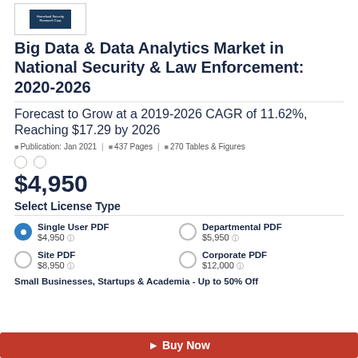[Figure (logo): Publisher logo box with teal/dark blue branding]
Big Data & Data Analytics Market in National Security & Law Enforcement: 2020-2026
Forecast to Grow at a 2019-2026 CAGR of 11.62%, Reaching $17.29 by 2026
Publication: Jan 2021 | 437 Pages | 270 Tables & Figures
$4,950
Select License Type
Single User PDF $4,950
Departmental PDF $5,950
Site PDF $8,950
Corporate PDF $12,000
Small Businesses, Startups & Academia - Up to 50% Off
Buy Now